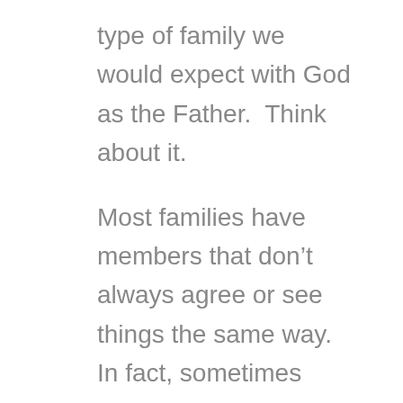type of family we would expect with God as the Father.  Think about it.
Most families have members that don't always agree or see things the same way.  In fact, sometimes members of a family may have political or social views that are in stark contrast to each other which makes mealtimes and holidays something of an adventure.  In addition, some families have siblings that often fight with each other,